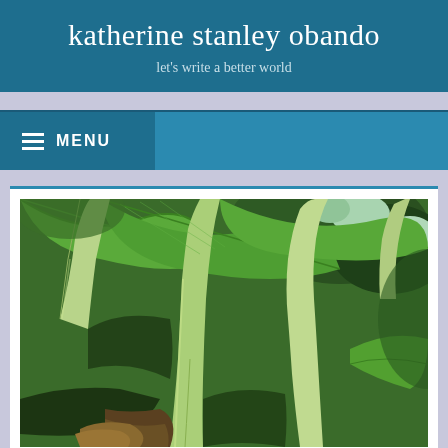katherine stanley obando
let's write a better world
≡ MENU
[Figure (photo): Close-up photograph of large tropical banana plant leaves with thick green stalks, shot from below looking up, with lush greenery and trees visible in the background. The image has a vivid green palette with deep shadows.]